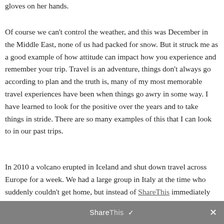gloves on her hands.
Of course we can’t control the weather, and this was December in the Middle East, none of us had packed for snow.  But it struck me as a good example of how attitude can impact how you experience and remember your trip. Travel is an adventure, things don’t always go according to plan and the truth is, many of my most memorable travel experiences have been when things go awry in some way.  I have learned to look for the positive over the years and to take things in stride.  There are so many examples of this that I can look to in our past trips.
In 2010 a volcano erupted in Iceland and shut down travel across Europe for a week.  We had a large group in Italy at the time who suddenly couldn’t get home, but instead of ShareThis immediately